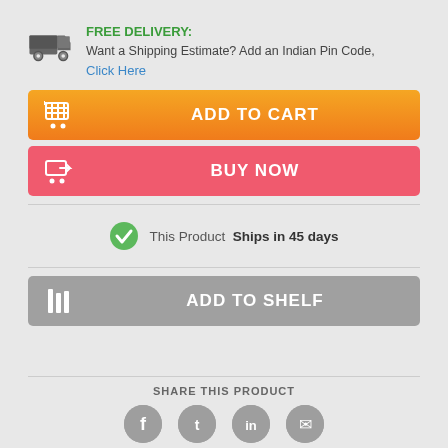FREE DELIVERY: Want a Shipping Estimate? Add an Indian Pin Code, Click Here
[Figure (infographic): ADD TO CART orange button with shopping cart icon]
[Figure (infographic): BUY NOW red button with cart arrow icon]
This Product Ships in 45 days
[Figure (infographic): ADD TO SHELF gray button with bookshelf icon]
SHARE THIS PRODUCT
[Figure (infographic): Social media sharing icons: Facebook, Twitter, LinkedIn, Email]